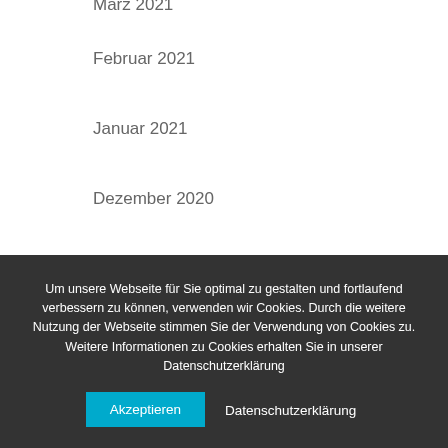März 2021
Februar 2021
Januar 2021
Dezember 2020
November 2020
Oktober 2020
September 2020
August 2020
Juli 2020
Um unsere Webseite für Sie optimal zu gestalten und fortlaufend verbessern zu können, verwenden wir Cookies. Durch die weitere Nutzung der Webseite stimmen Sie der Verwendung von Cookies zu. Weitere Informationen zu Cookies erhalten Sie in unserer Datenschutzerklärung
Akzeptieren
Datenschutzerklärung